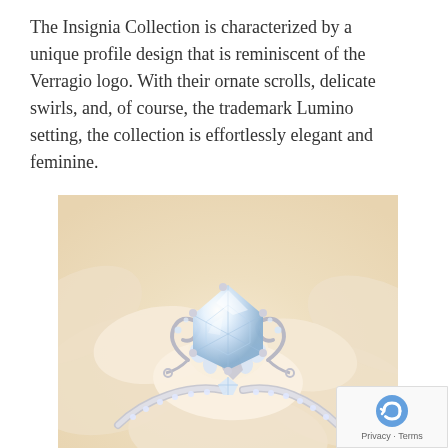The Insignia Collection is characterized by a unique profile design that is reminiscent of the Verragio logo. With their ornate scrolls, delicate swirls, and, of course, the trademark Lumino setting, the collection is effortlessly elegant and feminine.
[Figure (photo): A diamond engagement ring with ornate scrollwork and a large central diamond, resting on a cream-colored rose.]